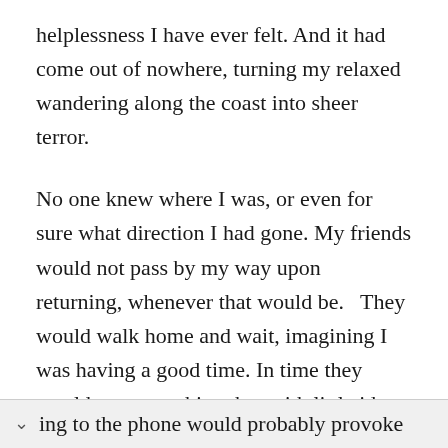helplessness I have ever felt. And it had come out of nowhere, turning my relaxed wandering along the coast into sheer terror.
No one knew where I was, or even for sure what direction I had gone. My friends would not pass by my way upon returning, whenever that would be.   They would walk home and wait, imagining I was having a good time. In time they would start searching, but with little idea where to look. I had a cell phone with me, and they would doubtless call, but
ing to the phone would probably provoke